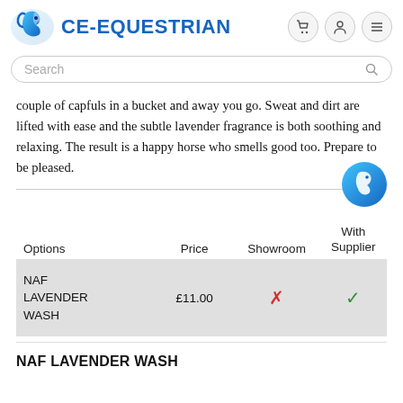CE-EQUESTRIAN
couple of capfuls in a bucket and away you go. Sweat and dirt are lifted with ease and the subtle lavender fragrance is both soothing and relaxing. The result is a happy horse who smells good too. Prepare to be pleased.
| Options | Price | Showroom | With Supplier |
| --- | --- | --- | --- |
| NAF LAVENDER WASH | £11.00 | ✗ | ✓ |
NAF LAVENDER WASH